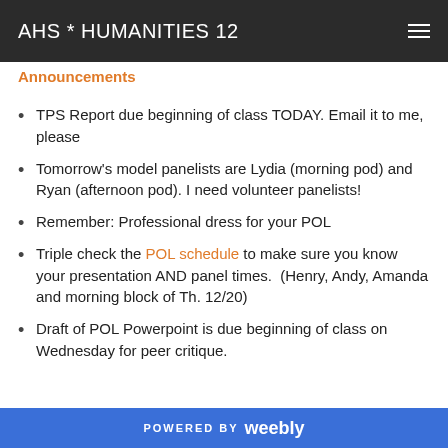AHS * HUMANITIES 12
Announcements
TPS Report due beginning of class TODAY. Email it to me, please
Tomorrow's model panelists are Lydia (morning pod) and Ryan (afternoon pod). I need volunteer panelists!
Remember: Professional dress for your POL
Triple check the POL schedule to make sure you know your presentation AND panel times.  (Henry, Andy, Amanda and morning block of Th. 12/20)
Draft of POL Powerpoint is due beginning of class on Wednesday for peer critique.
POWERED BY weebly